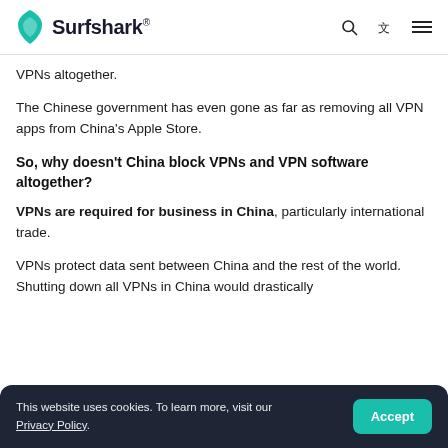Surfshark®
VPNs altogether.
The Chinese government has even gone as far as removing all VPN apps from China's Apple Store.
So, why doesn't China block VPNs and VPN software altogether?
VPNs are required for business in China, particularly international trade.
VPNs protect data sent between China and the rest of the world. Shutting down all VPNs in China would drastically...
This website uses cookies. To learn more, visit our Privacy Policy.